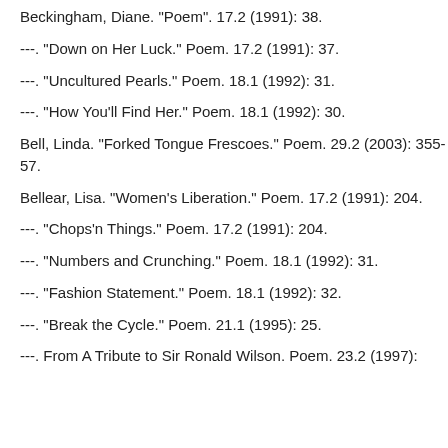Beckingham, Diane. "Poem". 17.2 (1991): 38.
---. "Down on Her Luck." Poem. 17.2 (1991): 37.
---. "Uncultured Pearls." Poem. 18.1 (1992): 31.
---. "How You'll Find Her." Poem. 18.1 (1992): 30.
Bell, Linda. "Forked Tongue Frescoes." Poem. 29.2 (2003): 355-57.
Bellear, Lisa. "Women's Liberation." Poem. 17.2 (1991): 204.
---. "Chops'n Things." Poem. 17.2 (1991): 204.
---. "Numbers and Crunching." Poem. 18.1 (1992): 31.
---. "Fashion Statement." Poem. 18.1 (1992): 32.
---. "Break the Cycle." Poem. 21.1 (1995): 25.
---. From A Tribute to Sir Ronald Wilson. Poem. 23.2 (1997):